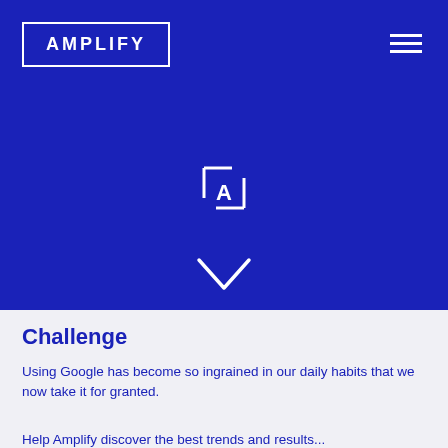[Figure (logo): Amplify logo: white text 'AMPLIFY' in a white rectangular border on blue background]
[Figure (illustration): Hamburger menu icon (three horizontal white lines) in top right of blue header]
[Figure (illustration): Amplify 'A' icon made of bracket/corner shapes in white on blue background, centered]
[Figure (illustration): White chevron/arrow pointing downward, centered on blue background]
Challenge
Using Google has become so ingrained in our daily habits that we now take it for granted.
Help Amplify discover the best trends and results...